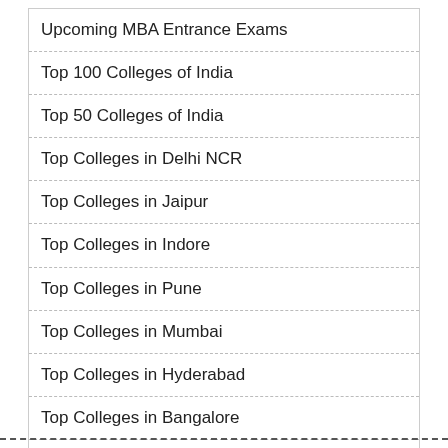Upcoming MBA Entrance Exams
Top 100 Colleges of India
Top 50 Colleges of India
Top Colleges in Delhi NCR
Top Colleges in Jaipur
Top Colleges in Indore
Top Colleges in Pune
Top Colleges in Mumbai
Top Colleges in Hyderabad
Top Colleges in Bangalore
Top Colleges in Ahmedabad